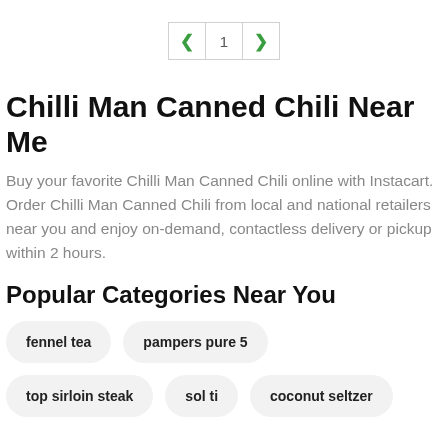[Figure (other): Pagination control showing left arrow, page number 1, right arrow]
Chilli Man Canned Chili Near Me
Buy your favorite Chilli Man Canned Chili online with Instacart. Order Chilli Man Canned Chili from local and national retailers near you and enjoy on-demand, contactless delivery or pickup within 2 hours.
Popular Categories Near You
fennel tea
pampers pure 5
top sirloin steak
sol ti
coconut seltzer